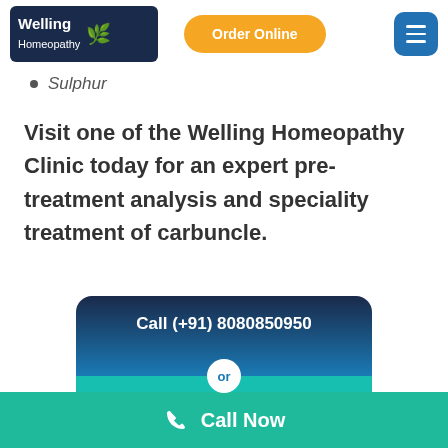[Figure (logo): Welling Homeopathy logo with dark navy background and white text]
[Figure (screenshot): Orange rounded 'Order Online' button]
[Figure (screenshot): Blue rounded square hamburger menu button]
Sulphur
Visit one of the Welling Homeopathy Clinic today for an expert pre-treatment analysis and speciality treatment of carbuncle.
[Figure (infographic): CTA card with dark blue to teal gradient top showing 'Call (+91) 8080850950', white 'or' circle, and teal bottom with 'Order Online']
[Figure (screenshot): Green footer bar with phone icon and 'Call Now' text]